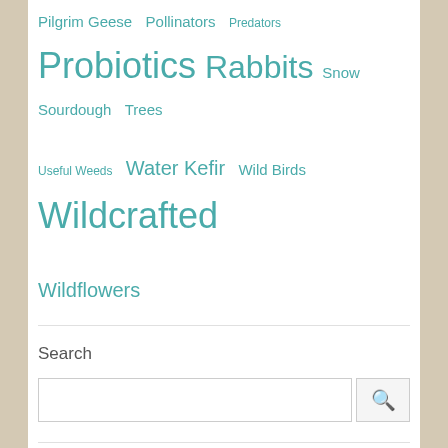Pilgrim Geese Pollinators Predators Probiotics Rabbits Snow Sourdough Trees Useful Weeds Water Kefir Wild Birds Wildcrafted Wildflowers
Search
Translate